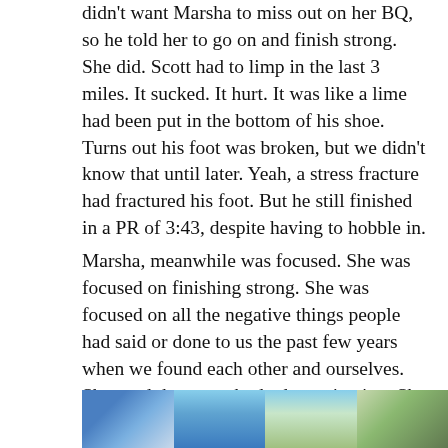didn't want Marsha to miss out on her BQ, so he told her to go on and finish strong. She did. Scott had to limp in the last 3 miles. It sucked. It hurt. It was like a lime had been put in the bottom of his shoe. Turns out his foot was broken, but we didn't know that until later. Yeah, a stress fracture had fractured his foot. But he still finished in a PR of 3:43, despite having to hobble in.
Marsha, meanwhile was focused. She was focused on finishing strong. She was focused on all the negative things people had said or done to us the past few years when we found each other and ourselves. She used that to embody determination. She turned it positive. She used it for fuel. She used that to BQ. She finished in 3:40.
[Figure (photo): A strip of four photos at the bottom of the page showing runners/race scenes]